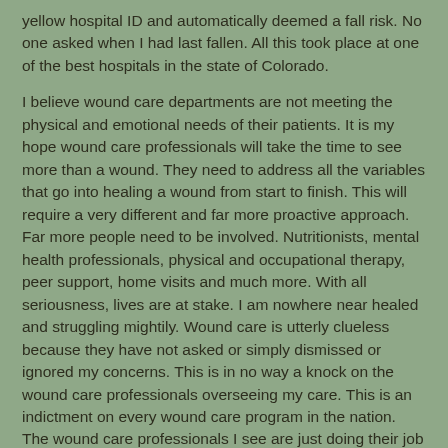yellow hospital ID and automatically deemed a fall risk. No one asked when I had last fallen. All this took place at one of the best hospitals in the state of Colorado.
I believe wound care departments are not meeting the physical and emotional needs of their patients. It is my hope wound care professionals will take the time to see more than a wound. They need to address all the variables that go into healing a wound from start to finish. This will require a very different and far more proactive approach. Far more people need to be involved. Nutritionists, mental health professionals, physical and occupational therapy, peer support, home visits and much more. With all seriousness, lives are at stake. I am nowhere near healed and struggling mightily. Wound care is utterly clueless because they have not asked or simply dismissed or ignored my concerns. This is in no way a knock on the wound care professionals overseeing my care. This is an indictment on every wound care program in the nation. The wound care professionals I see are just doing their job and that is the problem.
william Peace at 12:59 PM